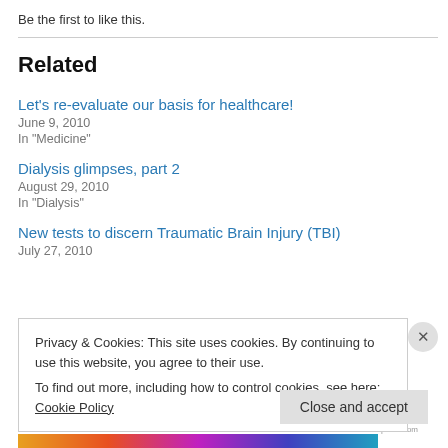Be the first to like this.
Related
Let's re-evaluate our basis for healthcare!
June 9, 2010
In "Medicine"
Dialysis glimpses, part 2
August 29, 2010
In "Dialysis"
New tests to discern Traumatic Brain Injury (TBI)
July 27, 2010
Privacy & Cookies: This site uses cookies. By continuing to use this website, you agree to their use.
To find out more, including how to control cookies, see here: Cookie Policy
Close and accept